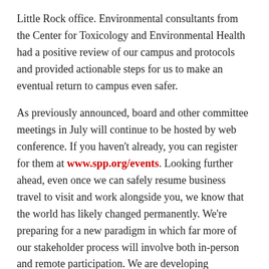Little Rock office. Environmental consultants from the Center for Toxicology and Environmental Health had a positive review of our campus and protocols and provided actionable steps for us to make an eventual return to campus even safer.
As previously announced, board and other committee meetings in July will continue to be hosted by web conference. If you haven't already, you can register for them at www.spp.org/events. Looking further ahead, even once we can safely resume business travel to visit and work alongside you, we know that the world has likely changed permanently. We're preparing for a new paradigm in which far more of our stakeholder process will involve both in-person and remote participation. We are developing innovative ways to make sure that no matter how you interact and participate with us and other stakeholders, your voice will be heard and you will be included.
As always, you can stay updated on our pandemic response at spp.org/covid-19. Please contact your customer relations